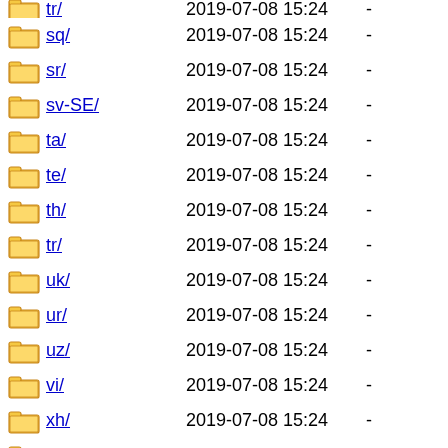sq/ 2019-07-08 15:24 -
sr/ 2019-07-08 15:24 -
sv-SE/ 2019-07-08 15:24 -
ta/ 2019-07-08 15:24 -
te/ 2019-07-08 15:24 -
th/ 2019-07-08 15:24 -
tr/ 2019-07-08 15:24 -
uk/ 2019-07-08 15:24 -
ur/ 2019-07-08 15:24 -
uz/ 2019-07-08 15:24 -
vi/ 2019-07-08 15:24 -
xh/ 2019-07-08 15:24 -
xpi/ 2019-07-08 15:24 -
zh-CN/ 2019-07-08 15:23 -
zh-TW/ 2019-07-08 15:23 -
Apache/2.4.38 (Debian) Server at ftp.pl.vim.org Port 443